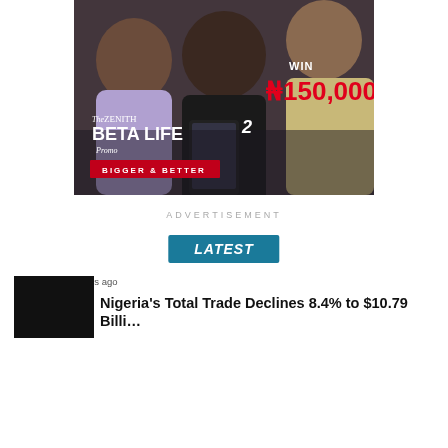[Figure (photo): Zenith Beta Life 2 Promo advertisement banner showing three happy women looking at a smartphone. Text reads WIN ₦150,000, The Zenith Beta Life 2 Promo, Bigger & Better.]
ADVERTISEMENT
LATEST
ECONOMY / 2 days ago
Nigeria's Total Trade Declines 8.4% to $10.79 Billi…